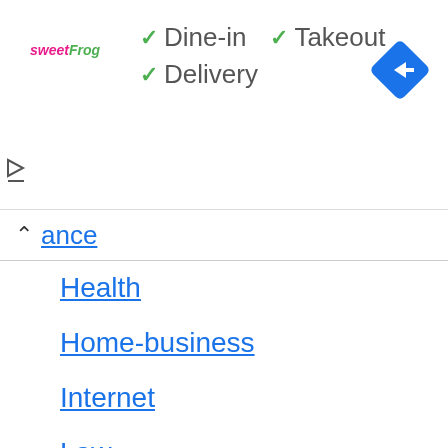[Figure (logo): sweetFrog logo text in pink and green italic]
✓ Dine-in
✓ Takeout
✓ Delivery
[Figure (illustration): Blue diamond navigation/directions icon with white arrow]
ance (Finance - partially visible)
Health
Home-business
Internet
Law
Loan
Marketing
News
Students
Technology